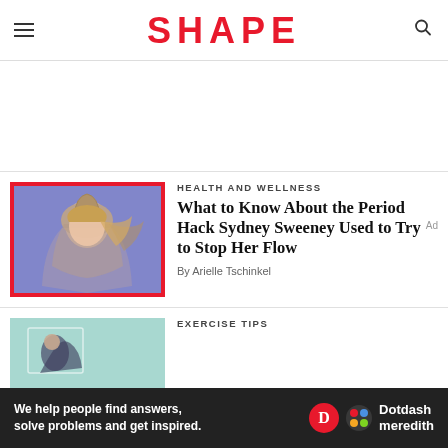SHAPE
[Figure (photo): Blonde woman with flowing hair against a purple/blue background, photo with red border]
HEALTH AND WELLNESS
What to Know About the Period Hack Sydney Sweeney Used to Try to Stop Her Flow
By Arielle Tschinkel
EXERCISE TIPS
[Figure (photo): Woman exercising against a teal/mint background]
[Figure (other): Dotdash Meredith advertisement banner: We help people find answers, solve problems and get inspired.]